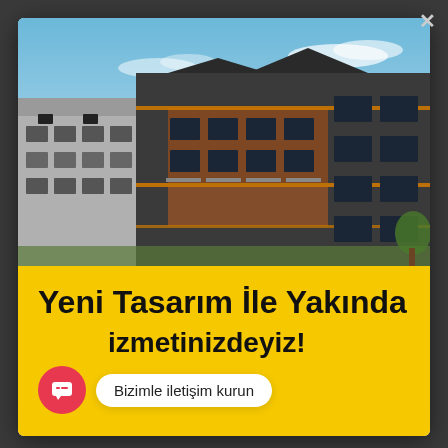[Figure (photo): Modern apartment building exterior render with dark gray and brick facade, blue sky background]
Yeni Tasarım İle Yakında Hizmetinizdeyiz!
Bizimle iletişim kurun